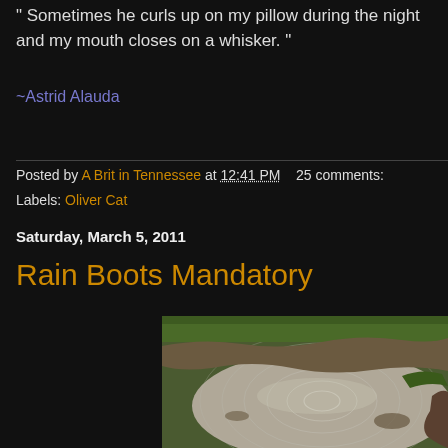" Sometimes he curls up on my pillow during the night and my mouth closes on a whisker. "
~Astrid Alauda
Posted by A Brit in Tennessee at 12:41 PM   25 comments:
Labels: Oliver Cat
Saturday, March 5, 2011
Rain Boots Mandatory
[Figure (photo): Photograph of muddy water with concentric ripples from rain drops, surrounded by green grass and muddy earth edges]